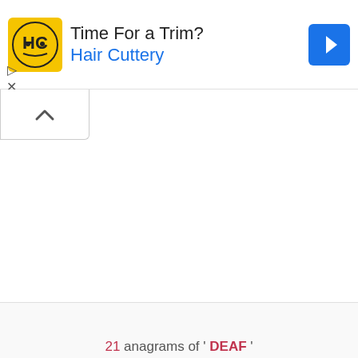[Figure (screenshot): Hair Cuttery advertisement banner with yellow HC logo, text 'Time For a Trim? Hair Cuttery', blue navigation arrow icon, and ad controls (play and close buttons)]
[Figure (other): Collapse/hide button with upward caret chevron icon]
Scramble!
21 anagrams of ' DEAF '